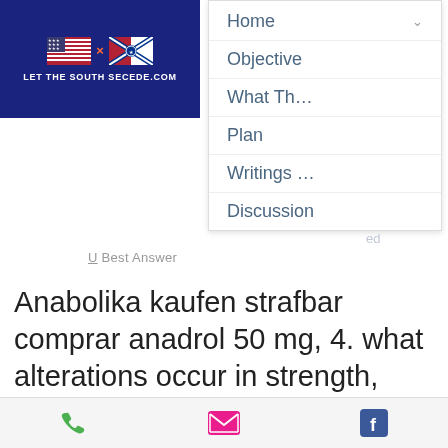[Figure (logo): Let The South Secede website logo with two flags (US and Confederate) on dark blue background, text reads LET THE SOUTH SECEDE.COM]
[Figure (screenshot): Navigation menu showing items: Home (with chevron), Objective, What Th..., Plan, Writings ..., Discussion]
U Best Answer
Anabolika kaufen strafbar comprar anadrol 50 mg, 4. what alterations occur in strength, power, and
[Figure (infographic): Bottom action bar with phone icon (green), email icon (pink/red), and Facebook icon (blue)]